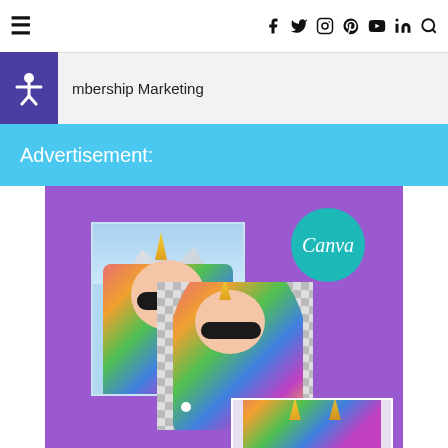☰  [social icons: Facebook, Twitter, Instagram, Pinterest, YouTube, LinkedIn, Search]
mbership Marketing
Advertisement:
[Figure (photo): Canva advertisement showing a woman wearing a colorful unicorn costume with sunglasses, shown as original photo with background and with background removed, plus a Canva teal logo circle, all on a purple background.]